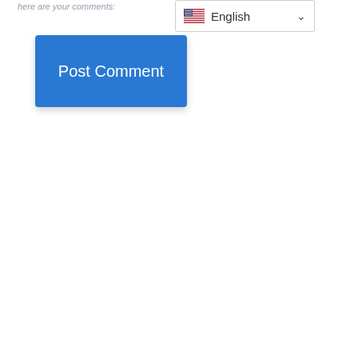here are your comments:
[Figure (screenshot): Post Comment button - a blue rectangular button with white text reading 'Post Comment']
[Figure (screenshot): Language selector dropdown showing US flag and 'English' text with a chevron/dropdown arrow]